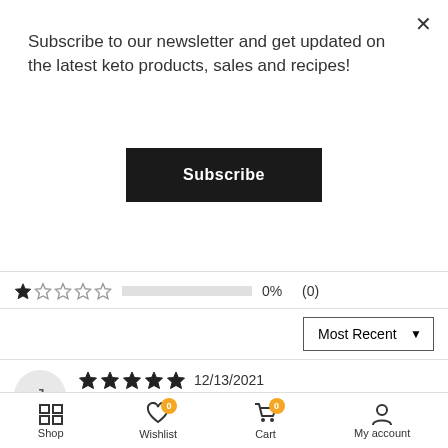Subscribe to our newsletter and get updated on the latest keto products, sales and recipes!
Subscribe
0%  (0)
Most Recent
12/13/2021
Verified  Jill Brewer
Love these
These biscuits are buttery and delicious.
>> onketo.com.au replied:
Shop  Wishlist  Cart  My account